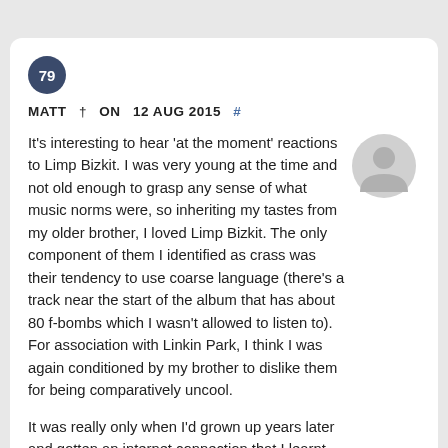79
MATT † ON 12 AUG 2015 #
It's interesting to hear 'at the moment' reactions to Limp Bizkit. I was very young at the time and not old enough to grasp any sense of what music norms were, so inheriting my tastes from my older brother, I loved Limp Bizkit. The only component of them I identified as crass was their tendency to use coarse language (there's a track near the start of the album that has about 80 f-bombs which I wasn't allowed to listen to). For association with Linkin Park, I think I was again conditioned by my brother to dislike them for being comparatively uncool.
It was really only when I'd grown up years later and gotten an internet connection that I learnt just how loathed the band were. With all the radio/TV airplay they got, and minor things